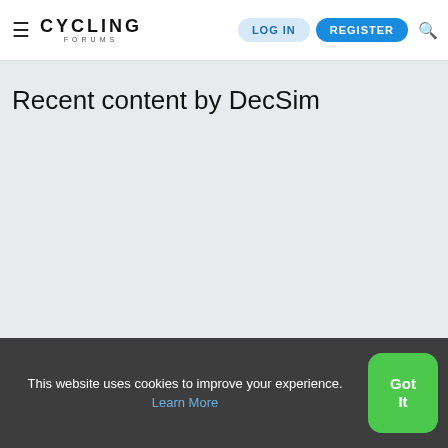CYCLING FORUMS — LOG IN | REGISTER
Recent content by DecSim
This website uses cookies to improve your experience. Learn More
Got It